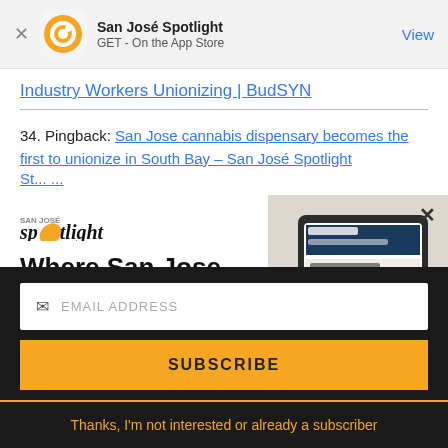[Figure (screenshot): App Store banner: San José Spotlight app icon (orange circle with Q logo), app name 'San José Spotlight', subtitle 'GET - On the App Store', close X button on left, 'View' link on right]
Industry Workers Unionizing | BudSYN
34. Pingback: San Jose cannabis dispensary becomes the first to unionize in South Bay – San José Spotlight
[Figure (screenshot): San José Spotlight advertisement: logo, headline 'Where San Jose locals start the day.', URL 'sanjosespotlight.com', tablet/device image on right with close X button]
EMAIL ADDRESS
SUBSCRIBE
Thanks, I'm not interested or already a subscriber